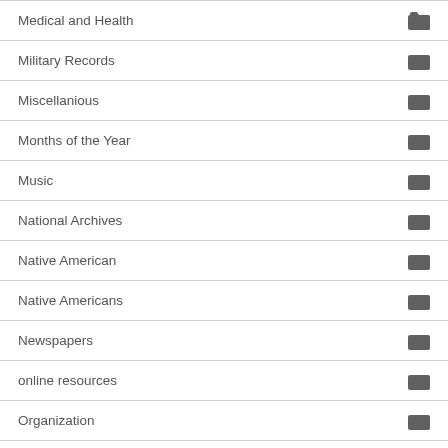Medical and Health
Military Records
Miscellanious
Months of the Year
Music
National Archives
Native American
Native Americans
Newspapers
online resources
Organization
Patriotic
Pictures